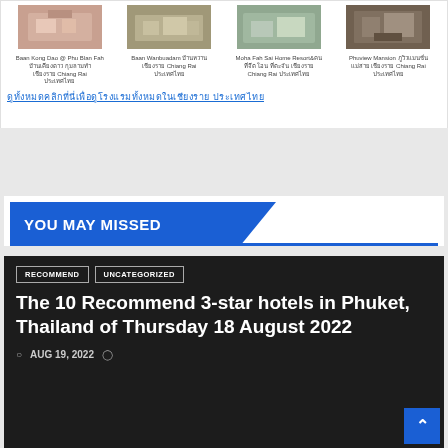[Figure (screenshot): Grid of 4 hotel thumbnail images with Thai text names below each]
ดูทั้งหมด (Thai characters link to see all hotels)
YOU MAY MISSED
RECOMMEND   UNCATEGORIZED
The 10 Recommend 3-star hotels in Phuket, Thailand of Thursday 18 August 2022
AUG 19, 2022